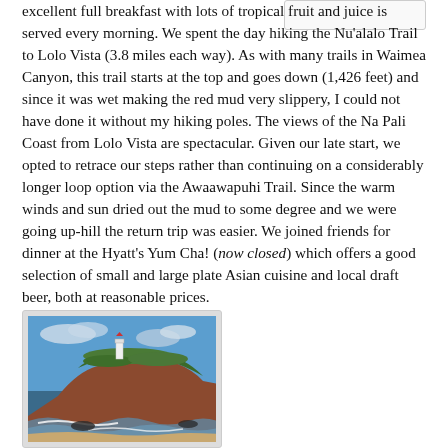excellent full breakfast with lots of tropical fruit and juice is served every morning. We spent the day hiking the Nu'alalo Trail to Lolo Vista (3.8 miles each way). As with many trails in Waimea Canyon, this trail starts at the top and goes down (1,426 feet) and since it was wet making the red mud very slippery, I could not have done it without my hiking poles. The views of the Na Pali Coast from Lolo Vista are spectacular. Given our late start, we opted to retrace our steps rather than continuing on a considerably longer loop option via the Awaawapuhi Trail. Since the warm winds and sun dried out the mud to some degree and we were going up-hill the return trip was easier. We joined friends for dinner at the Hyatt's Yum Cha! (now closed) which offers a good selection of small and large plate Asian cuisine and local draft beer, both at reasonable prices.
[Figure (photo): Coastal cliff scene with a white lighthouse on top of a red-brown rocky cliff covered with green vegetation, with large waves crashing at the base and a sandy beach in the foreground. Sky is partly cloudy blue.]